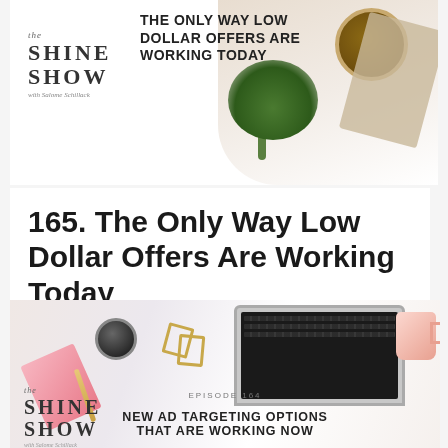[Figure (illustration): Podcast episode card for The Shine Show with coffee cup, plant, clipboard on white desk background. Title overlay reads: THE ONLY WAY LOW DOLLAR OFFERS ARE WORKING TODAY]
165. The Only Way Low Dollar Offers Are Working Today
[Figure (illustration): Podcast episode card for The Shine Show Episode 164 with laptop, pink mug, pink notebook, coffee mug on white desk. Title reads: NEW AD TARGETING OPTIONS THAT ARE WORKING NOW]